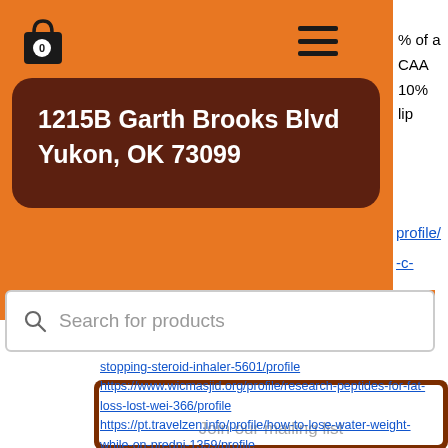[Figure (screenshot): Shopping bag icon with '0' badge]
[Figure (screenshot): Hamburger menu icon (three horizontal lines)]
% of a
CAA
10%
lip
1215B Garth Brooks Blvd
Yukon, OK 73099
profile/
-c-
Search for products
stopping-steroid-inhaler-5601/profile
https://www.wicmasjid.org/profile/research-peptides-for-fat-loss-lost-wei-366/profile
https://pt.travelzen.info/profile/how-to-lose-water-weight-while-on-predni-1359/profile
Join our mailing list